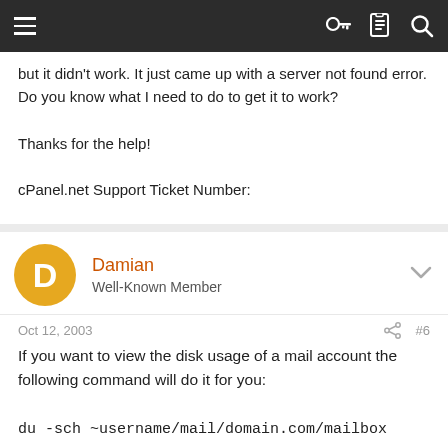Navigation bar with menu, key, document, and search icons
but it didn't work. It just came up with a server not found error. Do you know what I need to do to get it to work?

Thanks for the help!

cPanel.net Support Ticket Number:
Damian
Well-Known Member
Oct 12, 2003   #6
If you want to view the disk usage of a mail account the following command will do it for you:

du -sch ~username/mail/domain.com/mailbox

where username is the domain username, domain.com is the client domain and mailbox is the POP username.